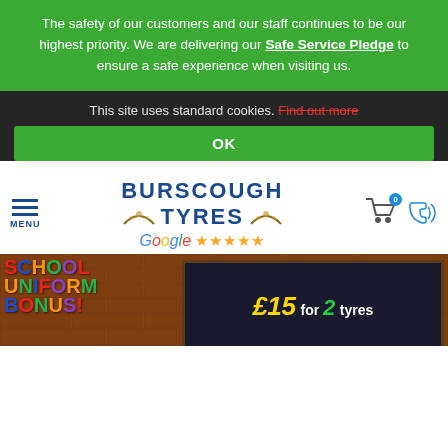The safety of our customers and our staff continues to be our highest priority. We are delivering our Safe Service Pledge to ensure a safe experience when visiting us.
This site uses standard cookies. Find out more
OK
[Figure (logo): Burscough Tyres logo with Google five-star rating, hamburger menu, cart icon with badge 0, and phone icon]
[Figure (photo): School Uniform Bonus promotional banner showing colorful text on brick wall background with £15 for 2 tyres offer on chalkboard]